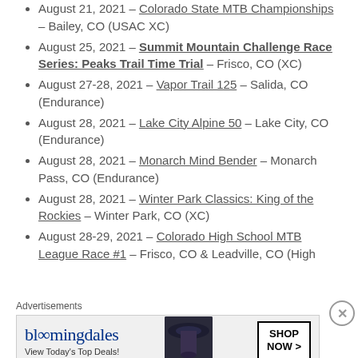August 21, 2021 – Colorado State MTB Championships – Bailey, CO (USAC XC)
August 25, 2021 – Summit Mountain Challenge Race Series: Peaks Trail Time Trial – Frisco, CO (XC)
August 27-28, 2021 – Vapor Trail 125 – Salida, CO (Endurance)
August 28, 2021 – Lake City Alpine 50 – Lake City, CO (Endurance)
August 28, 2021 – Monarch Mind Bender – Monarch Pass, CO (Endurance)
August 28, 2021 – Winter Park Classics: King of the Rockies – Winter Park, CO (XC)
August 28-29, 2021 – Colorado High School MTB League Race #1 – Frisco, CO & Leadville, CO (High
Advertisements
[Figure (other): Bloomingdale's advertisement: 'bloomingdales View Today's Top Deals!' with a woman in a wide-brim hat and a 'SHOP NOW >' button]